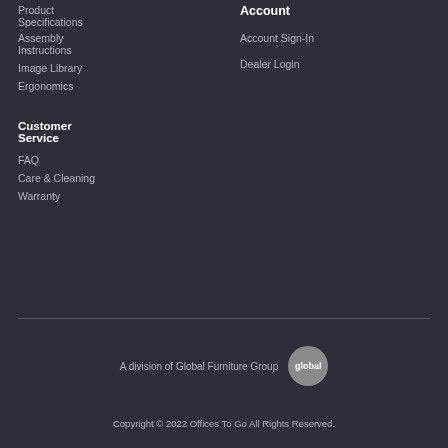Product Specifications
Assembly Instructions
Image Library
Ergonomics
Customer Service
FAQ
Care & Cleaning
Warranty
Account
Account Sign-In
Dealer Login
A division of Global Furniture Group
Copyright © 2022 Offices To Go All Rights Reserved.